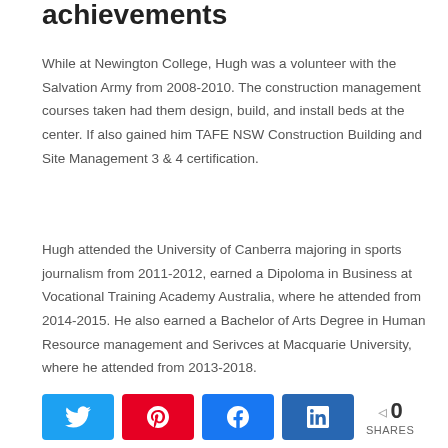achievements
While at Newington College, Hugh was a volunteer with the Salvation Army from 2008-2010. The construction management courses taken had them design, build, and install beds at the center. If also gained him TAFE NSW Construction Building and Site Management 3 & 4 certification.
Hugh attended the University of Canberra majoring in sports journalism from 2011-2012, earned a Dipoloma in Business at Vocational Training Academy Australia, where he attended from 2014-2015. He also earned a Bachelor of Arts Degree in Human Resource management and Serivces at Macquarie University, where he attended from 2013-2018.
Twitter Pinterest Facebook LinkedIn 0 SHARES